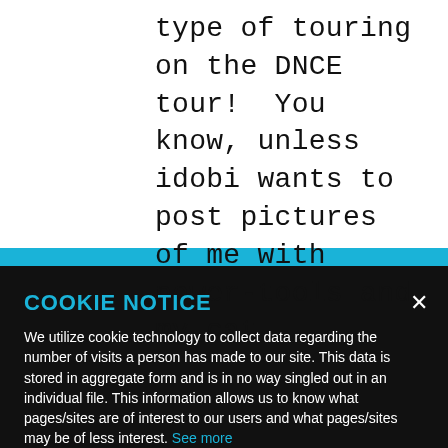type of touring on the DNCE tour!  You know, unless idobi wants to post pictures of me with power-tools and my cat.
COOKIE NOTICE
We utilize cookie technology to collect data regarding the number of visits a person has made to our site. This data is stored in aggregate form and is in no way singled out in an individual file. This information allows us to know what pages/sites are of interest to our users and what pages/sites may be of less interest. See more